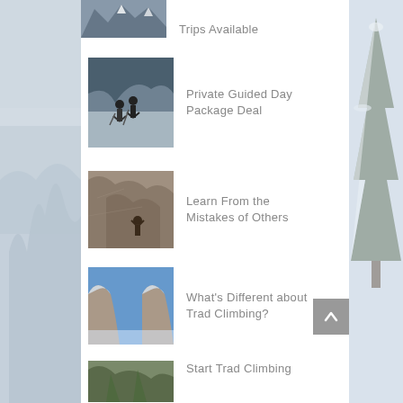Trips Available
Private Guided Day Package Deal
Learn From the Mistakes of Others
What's Different about Trad Climbing?
Start Trad Climbing